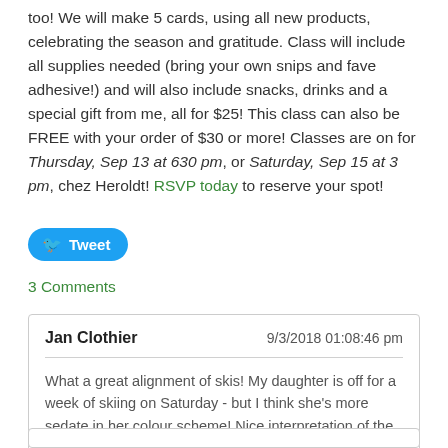too! We will make 5 cards, using all new products, celebrating the season and gratitude. Class will include all supplies needed (bring your own snips and fave adhesive!) and will also include snacks, drinks and a special gift from me, all for $25! This class can also be FREE with your order of $30 or more! Classes are on for Thursday, Sep 13 at 630 pm, or Saturday, Sep 15 at 3 pm, chez Heroldt! RSVP today to reserve your spot!
Tweet
3 Comments
Jan Clothier | 9/3/2018 01:08:46 pm | What a great alignment of skis! My daughter is off for a week of skiing on Saturday - but I think she's more sedate in her colour scheme! Nice interpretation of the sketch, Heather. Thanks for joining us again at As You See It. | REPLY